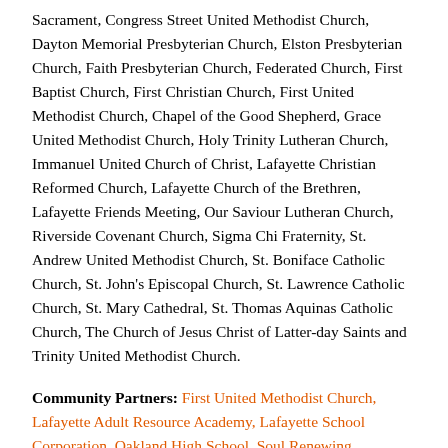Sacrament, Congress Street United Methodist Church, Dayton Memorial Presbyterian Church, Elston Presbyterian Church, Faith Presbyterian Church, Federated Church, First Baptist Church, First Christian Church, First United Methodist Church, Chapel of the Good Shepherd, Grace United Methodist Church, Holy Trinity Lutheran Church, Immanuel United Church of Christ, Lafayette Christian Reformed Church, Lafayette Church of the Brethren, Lafayette Friends Meeting, Our Saviour Lutheran Church, Riverside Covenant Church, Sigma Chi Fraternity, St. Andrew United Methodist Church, St. Boniface Catholic Church, St. John's Episcopal Church, St. Lawrence Catholic Church, St. Mary Cathedral, St. Thomas Aquinas Catholic Church, The Church of Jesus Christ of Latter-day Saints and Trinity United Methodist Church.
Community Partners: First United Methodist Church, Lafayette Adult Resource Academy, Lafayette School Corporation, Oakland High School, Soul Renewing...